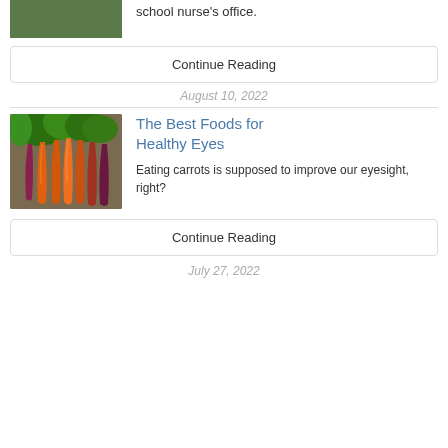[Figure (photo): Partial view of a person in a teal/green top outdoors]
school nurse's office.
Continue Reading
August 10, 2022
The Best Foods for Healthy Eyes
[Figure (photo): A bunch of colorful carrots (orange, red, purple) with green tops laid on a wooden surface]
Eating carrots is supposed to improve our eyesight, right?
Continue Reading
July 27, 2022